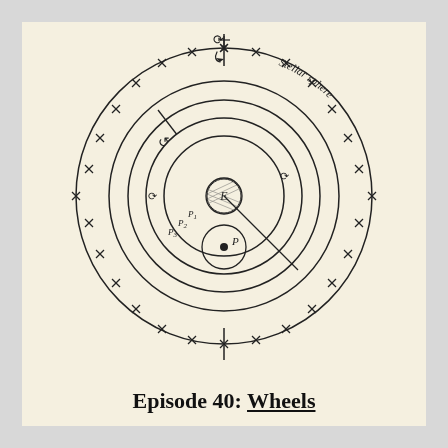[Figure (schematic): Ptolemaic geocentric model diagram showing concentric circles representing the Stellar sphere (outermost, decorated with star tick marks), inner orbital rings, Earth (E) at center with crosshatch shading, planet P on an epicycle, and labels P1, P2, P3 for reference points. Rotation arrows are shown at top and on middle rings. A vertical axis line passes through the top and bottom of the stellar sphere.]
Episode 40: Wheels